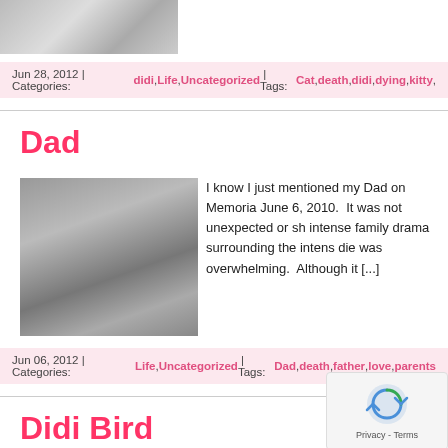[Figure (photo): Partial top image, cropped, appears to be a cat or animal]
Jun 28, 2012 | Categories: didi, Life, Uncategorized | Tags: Cat, death, didi, dying, kitty,
Dad
[Figure (photo): Black and white photo of a man and a young child sitting together]
I know I just mentioned my Dad on Memoria June 6, 2010. It was not unexpected or sh intense family drama surrounding the intens die was overwhelming. Although it [...]
Jun 06, 2012 | Categories: Life, Uncategorized | Tags: Dad, death, father, love, parents
Didi Bird